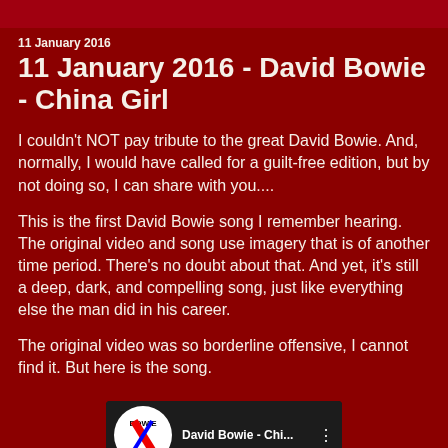11 January 2016
11 January 2016 - David Bowie - China Girl
I couldn't NOT pay tribute to the great David Bowie.  And, normally, I would have called for a guilt-free edition, but by not doing so, I can share with you....
This is the first David Bowie song I remember hearing.  The original video and song use imagery that is of another time period.  There's no doubt about that.  And yet, it's still a deep, dark, and compelling song, just like everything else the man did in his career.
The original video was so borderline offensive, I cannot find it.  But here is the song.
[Figure (screenshot): YouTube video thumbnail for David Bowie - China Girl, showing the Bowie lightning bolt logo and partial video frame with video title 'David Bowie - Chi...' and menu dots icon.]